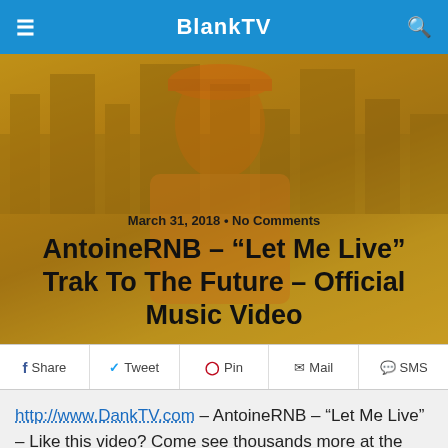BlankTV
[Figure (photo): Hero image of a person in an orange cap and jersey, with a warm golden/amber overlay, with text overlaid showing article metadata and title]
AntoineRNB – “Let Me Live” Trak To The Future – Official Music Video
March 31, 2018 • No Comments
f Share  ✓ Tweet  ⓕ Pin  ✉ Mail  💬 SMS
http://www.DankTV.com – AntoineRNB – “Let Me Live” – Like this video? Come see thousands more at the Net’s largest, uncensored, completely d.i.y. music video site, DankTV.com! We’ve got News, Games, Contests and the stuff that we can’t show on YouTube!